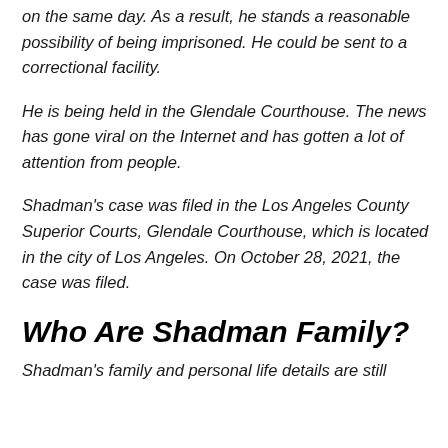on the same day. As a result, he stands a reasonable possibility of being imprisoned. He could be sent to a correctional facility.
He is being held in the Glendale Courthouse. The news has gone viral on the Internet and has gotten a lot of attention from people.
Shadman's case was filed in the Los Angeles County Superior Courts, Glendale Courthouse, which is located in the city of Los Angeles. On October 28, 2021, the case was filed.
Who Are Shadman Family?
Shadman's family and personal life details are still